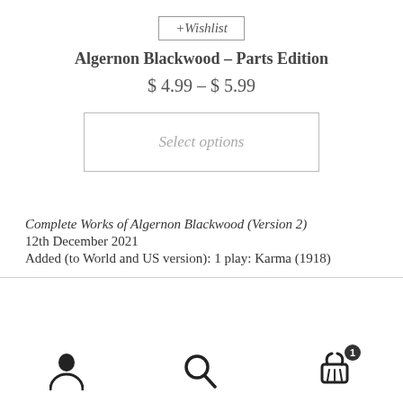+Wishlist
Algernon Blackwood – Parts Edition
$ 4.99 – $ 5.99
Select options
Complete Works of Algernon Blackwood (Version 2)
12th December 2021
Added (to World and US version): 1 play: Karma (1918)
User | Search | Cart (1)